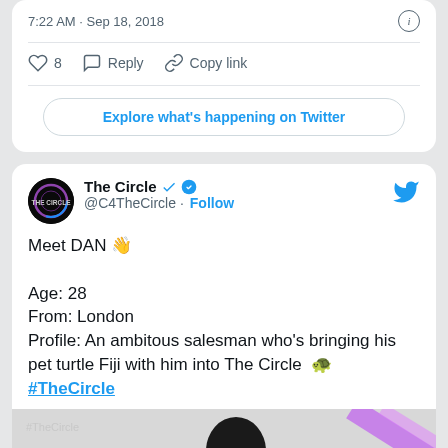7:22 AM · Sep 18, 2018
8   Reply   Copy link
Explore what's happening on Twitter
The Circle @C4TheCircle · Follow
Meet DAN 👋

Age: 28
From: London
Profile: An ambitous salesman who's bringing his pet turtle Fiji with him into The Circle 🐢
#TheCircle
[Figure (photo): Partial photo of a person with curly hair, with #TheCircle watermark, purple/pink diagonal stripe on right side]